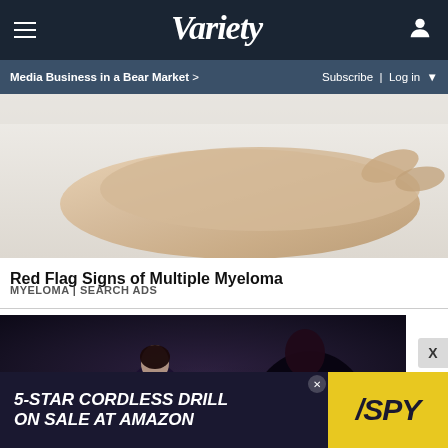Variety — Media Business in a Bear Market > | Subscribe | Log in
[Figure (photo): Close-up of a hand resting on white fabric, associated with a Myeloma health advertisement]
Red Flag Signs of Multiple Myeloma
MYELOMA | SEARCH ADS
[Figure (photo): Dark cinematic scene with a young girl facing a cloaked mysterious figure, appears to be a TV show or movie still]
[Figure (other): 5-STAR CORDLESS DRILL ON SALE AT AMAZON — SPY advertisement banner at bottom of page]